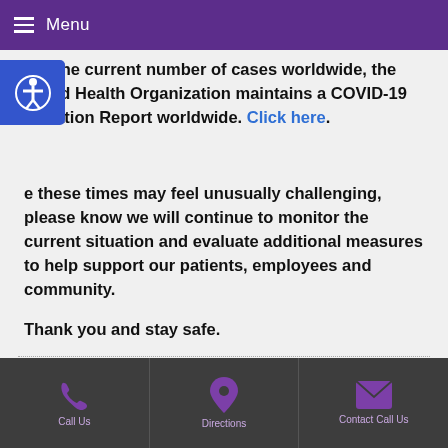Menu
For the current number of cases worldwide, the World Health Organization maintains a COVID-19 Situation Report worldwide. Click here.
e these times may feel unusually challenging, please know we will continue to monitor the current situation and evaluate additional measures to help support our patients, employees and community.

Thank you and stay safe.
Call Us | Directions | Contact Call Us